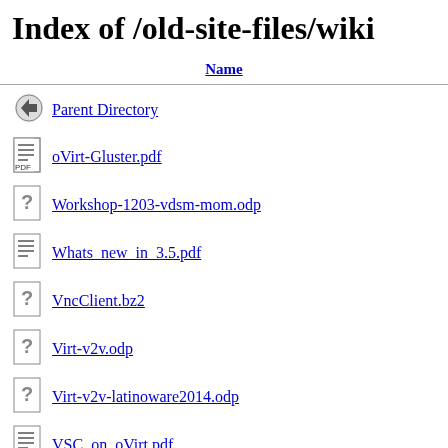Index of /old-site-files/wiki
| Name |
| --- |
| Parent Directory |
| oVirt-Gluster.pdf |
| Workshop-1203-vdsm-mom.odp |
| Whats_new_in_3.5.pdf |
| VncClient.bz2 |
| Virt-v2v.odp |
| Virt-v2v-latinoware2014.odp |
| VSC_on_oVirt.pdf |